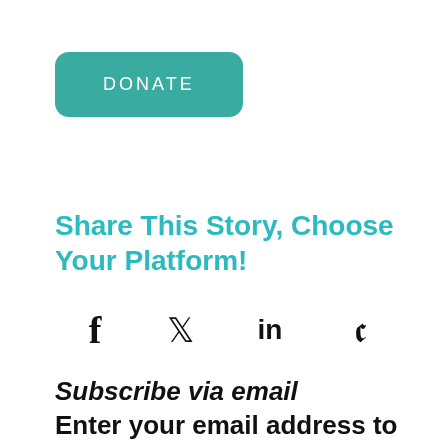[Figure (other): Teal rounded rectangle button with text DONATE in white spaced letters]
Share This Story, Choose Your Platform!
[Figure (other): Social media share icons: Facebook (f), Twitter (bird), LinkedIn (in), Pinterest (P)]
Subscribe via email Enter your email address to follow Rise Up Times and receive notifications of